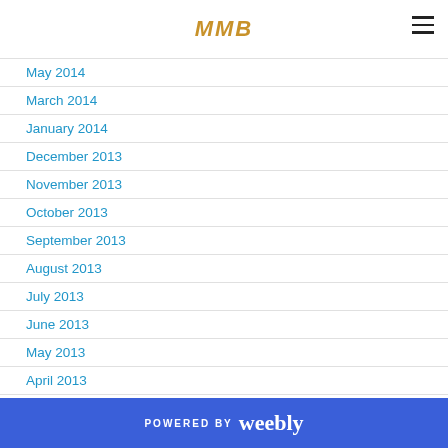MMB
May 2014
March 2014
January 2014
December 2013
November 2013
October 2013
September 2013
August 2013
July 2013
June 2013
May 2013
April 2013
March 2013
February 2013
January 2013
POWERED BY weebly